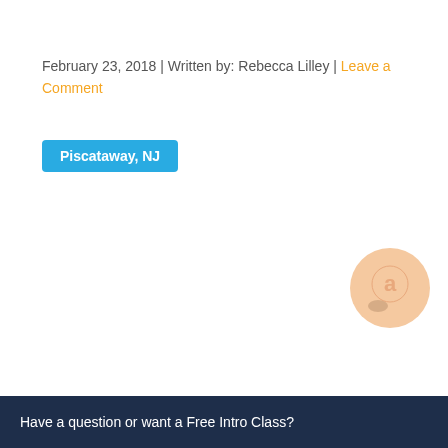February 23, 2018 | Written by: Rebecca Lilley | Leave a Comment
Piscataway, NJ
[Figure (logo): Circular chat/messaging icon with letter 'a' inside, light orange/peach color]
Have a question or want a Free Intro Class?